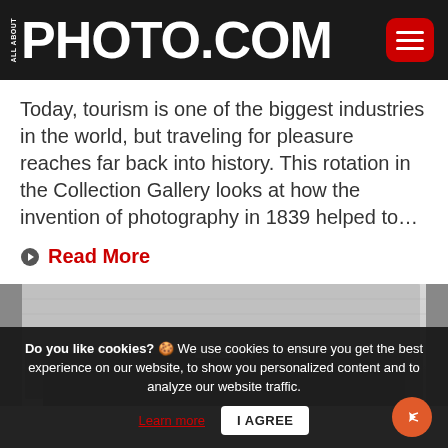ALL ABOUT PHOTO.COM
Today, tourism is one of the biggest industries in the world, but traveling for pleasure reaches far back into history. This rotation in the Collection Gallery looks at how the invention of photography in 1839 helped to…
Read More
[Figure (photo): Black and white photograph showing the interior roof/ceiling of a vintage vehicle, with chrome trim and structural elements visible]
Do you like cookies? 🍪 We use cookies to ensure you get the best experience on our website, to show you personalized content and to analyze our website traffic. Learn more  I AGREE